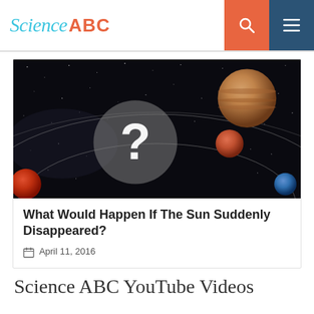Science ABC
[Figure (illustration): Illustration of a solar system with planets, orbital paths on a starry background, with a translucent gray circle containing a white question mark overlaid in the center.]
What Would Happen If The Sun Suddenly Disappeared?
April 11, 2016
Science ABC YouTube Videos